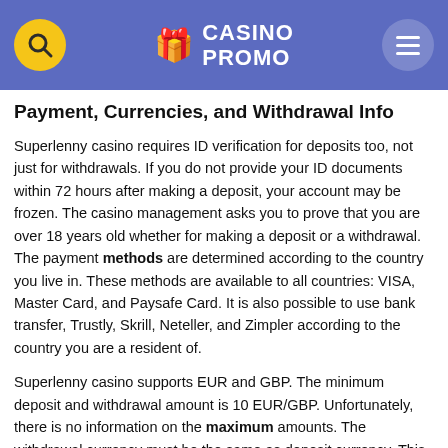CASINO PROMO
Payment, Currencies, and Withdrawal Info
Superlenny casino requires ID verification for deposits too, not just for withdrawals. If you do not provide your ID documents within 72 hours after making a deposit, your account may be frozen. The casino management asks you to prove that you are over 18 years old whether for making a deposit or a withdrawal. The payment methods are determined according to the country you live in. These methods are available to all countries: VISA, Master Card, and Paysafe Card. It is also possible to use bank transfer, Trustly, Skrill, Neteller, and Zimpler according to the country you are a resident of.
Superlenny casino supports EUR and GBP. The minimum deposit and withdrawal amount is 10 EUR/GBP. Unfortunately, there is no information on the maximum amounts. The withdrawal currency must be the same as deposit currency. This means you cannot deposit in EUR and withdraw in GBP. Both currencies must be the same.